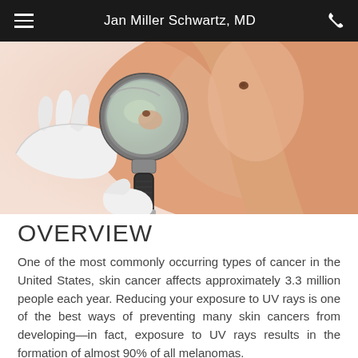Jan Miller Schwartz, MD
[Figure (photo): A medical professional in white gloves using a dermatoscope to examine a skin mole on a patient's neck. A circular mirror reflects the examination area.]
OVERVIEW
One of the most commonly occurring types of cancer in the United States, skin cancer affects approximately 3.3 million people each year. Reducing your exposure to UV rays is one of the best ways of preventing many skin cancers from developing—in fact, exposure to UV rays results in the formation of almost 90% of all melanomas.